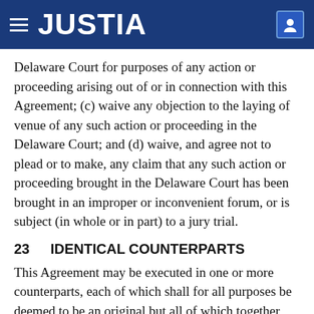JUSTIA
Delaware Court for purposes of any action or proceeding arising out of or in connection with this Agreement; (c) waive any objection to the laying of venue of any such action or proceeding in the Delaware Court; and (d) waive, and agree not to plead or to make, any claim that any such action or proceeding brought in the Delaware Court has been brought in an improper or inconvenient forum, or is subject (in whole or in part) to a jury trial.
23   IDENTICAL COUNTERPARTS
This Agreement may be executed in one or more counterparts, each of which shall for all purposes be deemed to be an original but all of which together shall constitute one and the same